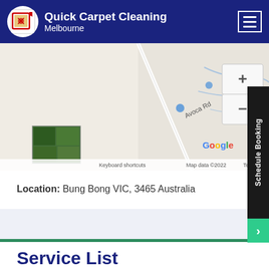Quick Carpet Cleaning Melbourne
[Figure (map): Google Maps view showing Avoca Rd area near Bung Bong VIC. Map includes zoom controls (+/-), a satellite thumbnail inset, Google logo, and footer text: 'Keyboard shortcuts  Map data ©2022  Terms of Use']
Location: Bung Bong VIC, 3465 Australia
Service List